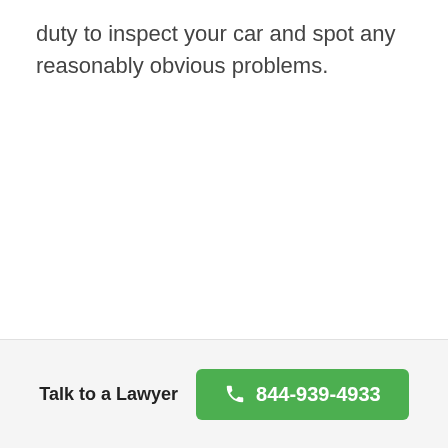duty to inspect your car and spot any reasonably obvious problems.
Talk to a Lawyer  844-939-4933